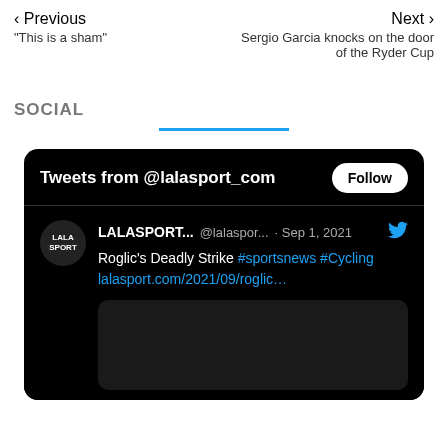< Previous
"This is a sham"
Next >
Sergio Garcia knocks on the door of the Ryder Cup
SOCIAL
[Figure (screenshot): Twitter widget showing tweets from @lalasport_com with a Follow button. Tweet from LALASPORT... @lalasport... Sep 1, 2021: Roglic's Deadly Strike #sportsnews #Cycling lalasport.com/2021/09/roglic...]